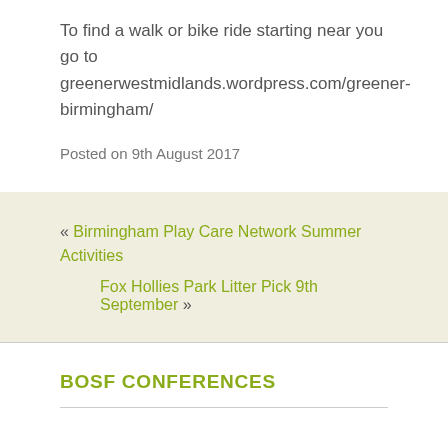To find a walk or bike ride starting near you go to greenerwestmidlands.wordpress.com/greener-birmingham/
Posted on 9th August 2017
« Birmingham Play Care Network Summer Activities
Fox Hollies Park Litter Pick 9th September »
BOSF CONFERENCES